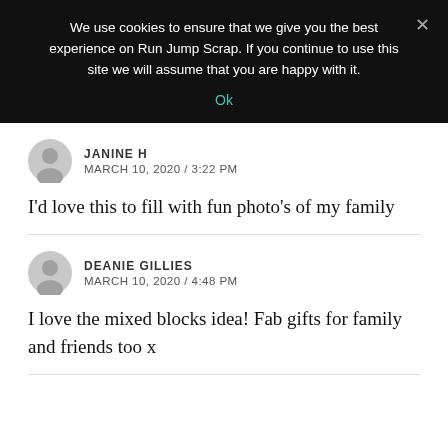We use cookies to ensure that we give you the best experience on Run Jump Scrap. If you continue to use this site we will assume that you are happy with it.
Ok
JANINE H
MARCH 10, 2020 / 3:22 PM
I'd love this to fill with fun photo's of my family
DEANIE GILLIES
MARCH 10, 2020 / 4:48 PM
I love the mixed blocks idea! Fab gifts for family and friends too x